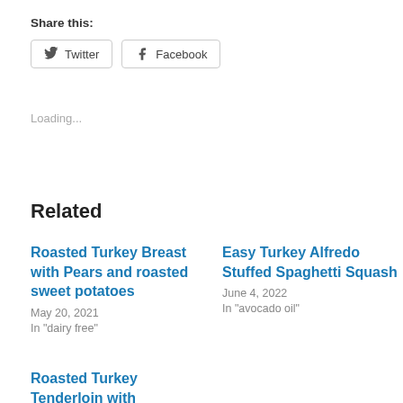Share this:
Twitter  Facebook
Loading...
Related
Roasted Turkey Breast with Pears and roasted sweet potatoes
May 20, 2021
In "dairy free"
Easy Turkey Alfredo Stuffed Spaghetti Squash
June 4, 2022
In "avocado oil"
Roasted Turkey Tenderloin with